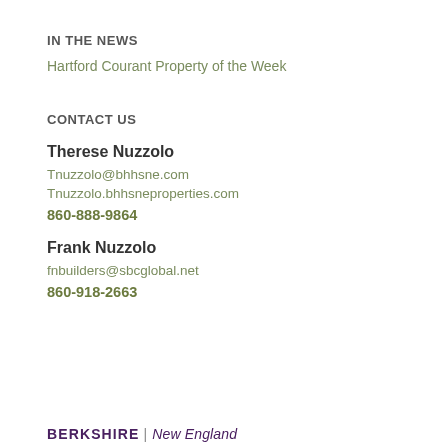IN THE NEWS
Hartford Courant Property of the Week
CONTACT US
Therese Nuzzolo
Tnuzzolo@bhhsne.com
Tnuzzolo.bhhsneproperties.com
860-888-9864
Frank Nuzzolo
fnbuilders@sbcglobal.net
860-918-2663
BERKSHIRE | New England